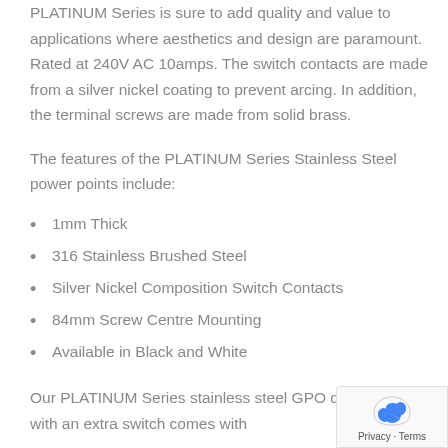PLATINUM Series is sure to add quality and value to applications where aesthetics and design are paramount. Rated at 240V AC 10amps. The switch contacts are made from a silver nickel coating to prevent arcing. In addition, the terminal screws are made from solid brass.
The features of the PLATINUM Series Stainless Steel power points include:
1mm Thick
316 Stainless Brushed Steel
Silver Nickel Composition Switch Contacts
84mm Screw Centre Mounting
Available in Black and White
Our PLATINUM Series stainless steel GPO double black with an extra switch comes with